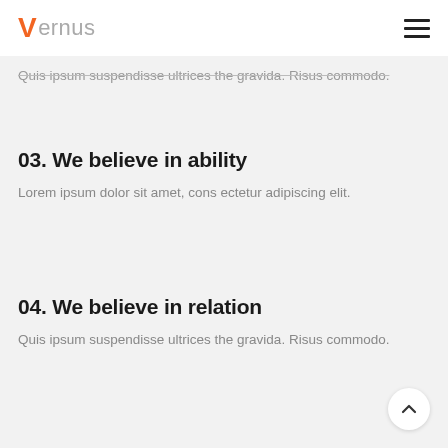Vernus
Quis ipsum suspendisse ultrices the gravida. Risus commodo.
03. We believe in ability
Lorem ipsum dolor sit amet, cons ectetur adipiscing elit.
04. We believe in relation
Quis ipsum suspendisse ultrices the gravida. Risus commodo.